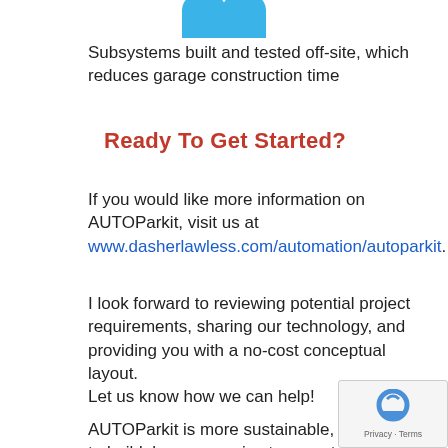[Figure (logo): Partial blue logo/icon at top center of page]
Subsystems built and tested off-site, which reduces garage construction time
Ready To Get Started?
If you would like more information on AUTOParkit, visit us at www.dasherlawless.com/automation/autoparkit.
I look forward to reviewing potential project requirements, sharing our technology, and providing you with a no-cost conceptual layout.
Let us know how we can help!
AUTOParkit is more sustainable, faster to build, less expensive to operate, safer for the community, and provides a necessary, convenient alternative to an escalating global problem.